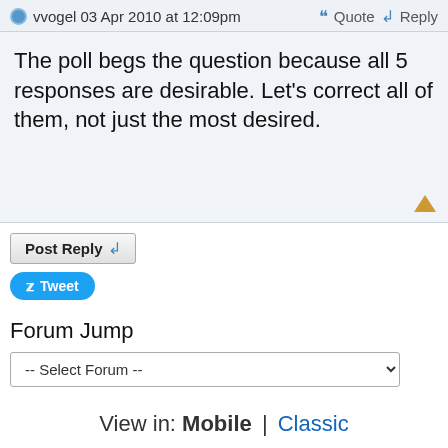vvogel 03 Apr 2010 at 12:09pm   Quote  Reply
The poll begs the question because all 5 responses are desirable. Let's correct all of them, not just the most desired.
Post Reply
Tweet
Forum Jump
-- Select Forum --
View in: Mobile | Classic
Forum Software by Web Wiz Forums® version 12.01